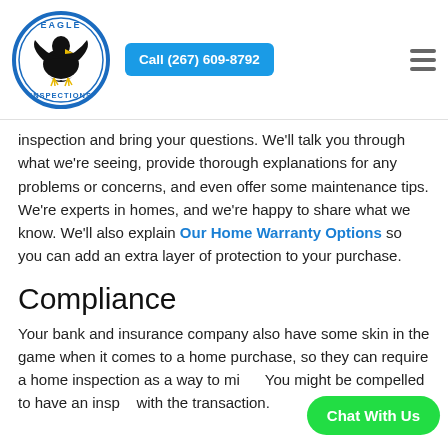[Figure (logo): Eagle Inspections circular logo with eagle illustration in blue and black]
Call (267) 609-8792
inspection and bring your questions. We'll talk you through what we're seeing, provide thorough explanations for any problems or concerns, and even offer some maintenance tips. We're experts in homes, and we're happy to share what we know. We'll also explain Our Home Warranty Options so you can add an extra layer of protection to your purchase.
Compliance
Your bank and insurance company also have some skin in the game when it comes to a home purchase, so they can require a home inspection as a way to mi... You might be compelled to have an insp... with the transaction.
Chat With Us